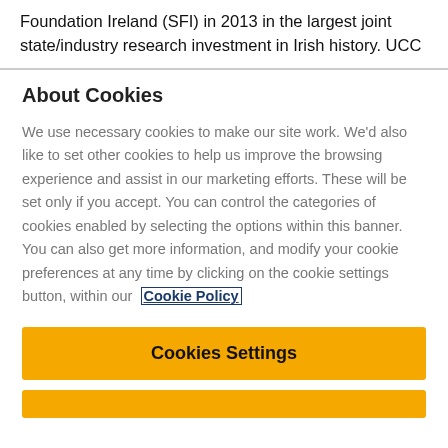Foundation Ireland (SFI) in 2013 in the largest joint state/industry research investment in Irish history. UCC
About Cookies
We use necessary cookies to make our site work. We'd also like to set other cookies to help us improve the browsing experience and assist in our marketing efforts. These will be set only if you accept. You can control the categories of cookies enabled by selecting the options within this banner. You can also get more information, and modify your cookie preferences at any time by clicking on the cookie settings button, within our Cookie Policy
Cookies Settings